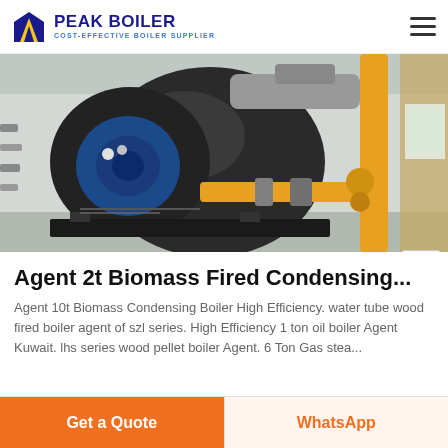PEAK BOILER COST-EFFECTIVE BOILER SUPPLIER
[Figure (photo): Industrial boiler room with a large dark cylindrical boiler, blue motor, yellow gas pipes, valves, and fittings in a light-colored facility.]
Agent 2t Biomass Fired Condensing...
Agent 10t Biomass Condensing Boiler High Efficiency. water tube wood fired boiler agent of szl series. High Efficiency 1 ton oil boiler Agent Kuwait. lhs series wood pellet boiler Agent. 6 Ton Gas stea...
Get a Quote  WhatsApp